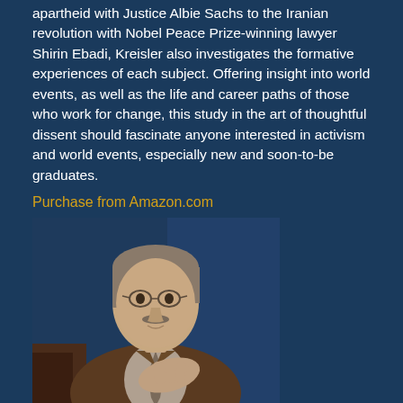apartheid with Justice Albie Sachs to the Iranian revolution with Nobel Peace Prize-winning lawyer Shirin Ebadi, Kreisler also investigates the formative experiences of each subject. Offering insight into world events, as well as the life and career paths of those who work for change, this study in the art of thoughtful dissent should fascinate anyone interested in activism and world events, especially new and soon-to-be graduates.
Purchase from Amazon.com
[Figure (photo): Photo of Harry Kreisler, a middle-aged man with glasses, gray-brown hair and a mustache, wearing a brown suit and tie, gesturing with his hand, seated against a dark blue background]
Harry Kreisler is the creator, executive producer and host of the Conversations with History series. Conceived in 1982 by Mr. Kreisler as a way to capture and preserve through conversation